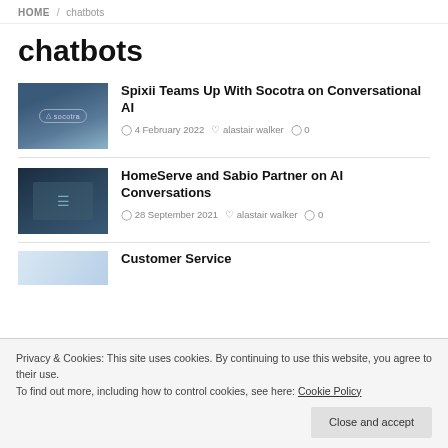HOME / chatbots
chatbots
Spixii Teams Up With Socotra on Conversational AI
4 February 2022   alastair walker   0
HomeServe and Sabio Partner on AI Conversations
28 September 2021   alastair walker   0
Privacy & Cookies: This site uses cookies. By continuing to use this website, you agree to their use.
To find out more, including how to control cookies, see here: Cookie Policy
Close and accept
Customer Service